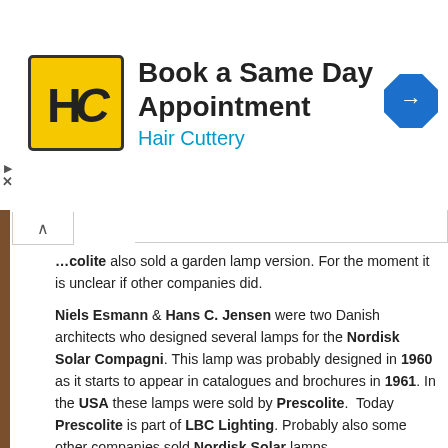[Figure (logo): Hair Cuttery advertisement banner with HC logo and blue arrow road sign icon. Text: 'Book a Same Day Appointment' and 'Hair Cuttery']
Prescolite also sold a garden lamp version. For the moment it is unclear if other companies did.
Niels Esmann & Hans C. Jensen were two Danish architects who designed several lamps for the Nordisk Solar Compagni. This lamp was probably designed in 1960 as it starts to appear in catalogues and brochures in 1961. In the USA these lamps were sold by Prescolite.  Today Prescolite is part of LBC Lighting. Probably also some other companies sold Nordisk Solar lamps.
Nordisk Solar
Nordisk Solar was founded in 1919 by Jacob L. Jørgensen and Herluf Sørensen. The company started business as an import and wholesale company of electricity meters. Later they produced radios under the name Audiola. Since the early 1960s “Solar” focused on high-quality lighting.